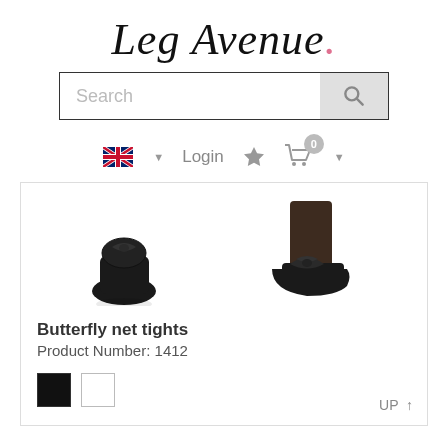[Figure (logo): Leg Avenue logo in cursive/italic script with a pink heart dot]
[Figure (screenshot): Search bar with text input field and magnifying glass button]
[Figure (screenshot): Navigation bar with UK flag, Login text, star icon, shopping cart with badge showing 0]
[Figure (photo): Two product images of black butterfly net tights shoes with satin bow detail]
Butterfly net tights
Product Number: 1412
[Figure (other): Two color swatches: black and white]
UP ↑